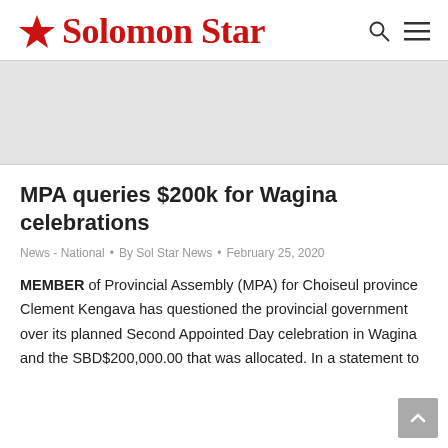Solomon Star
[Figure (other): Advertisement banner, light gray background]
MPA queries $200k for Wagina celebrations
News - National • By Sol Star News • February 25, 2020
MEMBER of Provincial Assembly (MPA) for Choiseul province Clement Kengava has questioned the provincial government over its planned Second Appointed Day celebration in Wagina and the SBD$200,000.00 that was allocated. In a statement to